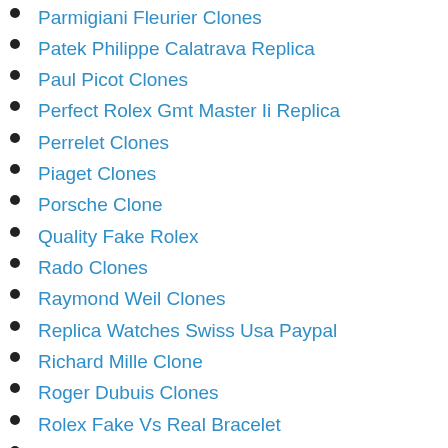Parmigiani Fleurier Clones
Patek Philippe Calatrava Replica
Paul Picot Clones
Perfect Rolex Gmt Master Ii Replica
Perrelet Clones
Piaget Clones
Porsche Clone
Quality Fake Rolex
Rado Clones
Raymond Weil Clones
Replica Watches Swiss Usa Paypal
Richard Mille Clone
Roger Dubuis Clones
Rolex Fake Vs Real Bracelet
Rolex Presidential Diamond Bezel Replica
Rolex Replica Reviews
Rolex Replica Watches Information